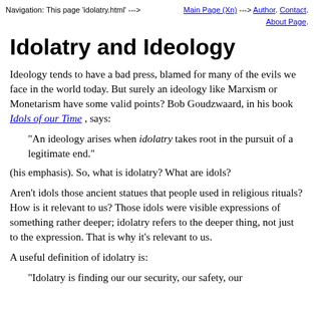Navigation: This page 'idolatry.html' --> Main Page (Xn) --> Author. Contact. About Page.
Idolatry and Ideology
Ideology tends to have a bad press, blamed for many of the evils we face in the world today. But surely an ideology like Marxism or Monetarism have some valid points? Bob Goudzwaard, in his book Idols of our Time , says:
"An ideology arises when idolatry takes root in the pursuit of a legitimate end."
(his emphasis). So, what is idolatry? What are idols?
Aren't idols those ancient statues that people used in religious rituals? How is it relevant to us? Those idols were visible expressions of something rather deeper; idolatry refers to the deeper thing, not just to the expression. That is why it's relevant to us.
A useful definition of idolatry is:
"Idolatry is finding our our security, our safety, our